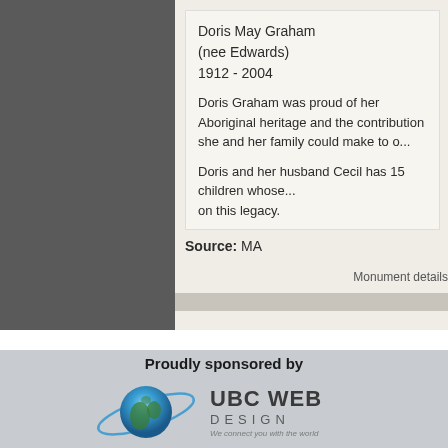Doris May Graham
(nee Edwards)
1912 - 2004
Doris Graham was proud of her Aboriginal heritage and the contribution she and her family could make to o...
Doris and her husband Cecil has 15 children whose... on this legacy.
Source: MA
Monument details
Proudly sponsored by
[Figure (logo): UBC Web Design logo with globe graphic and text 'UBC WEB DESIGN - We connect you with the world']